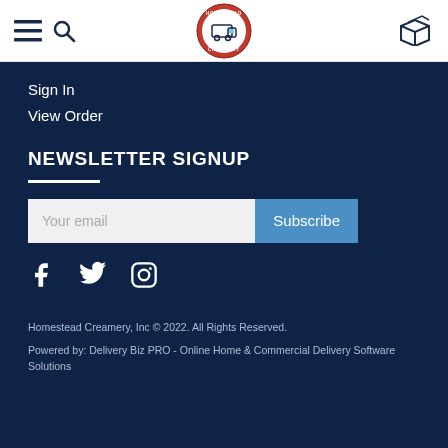Homestead Creamery navigation header with logo
Sign In
View Order
NEWSLETTER SIGNUP
Your email / Subscribe
[Figure (logo): Facebook, Twitter, Instagram social media icons]
Homestead Creamery, Inc © 2022. All Rights Reserved. Powered by: Delivery Biz PRO - Online Home & Commercial Delivery Software Solutions